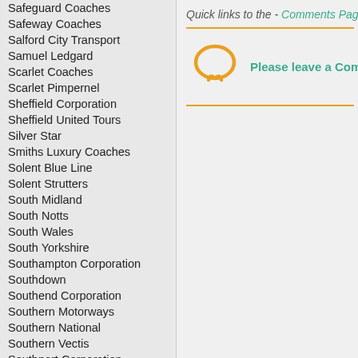Safeguard Coaches
Safeway Coaches
Salford City Transport
Samuel Ledgard
Scarlet Coaches
Scarlet Pimpernel
Sheffield Corporation
Sheffield United Tours
Silver Star
Smiths Luxury Coaches
Solent Blue Line
Solent Strutters
South Midland
South Notts
South Wales
South Yorkshire
Southampton Corporation
Southdown
Southend Corporation
Southern Motorways
Southern National
Southern Vectis
Southport Corporation
Spiers Tours
St Helens Corporation
Staff Transport
Standerwick
Stevensons of Spath
Stocker's
Stockport Corporation
Quick links to the - Comments Page -
[Figure (illustration): Orange speech bubble icon]
Please leave a Comme...